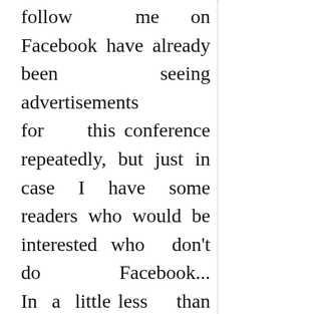follow me on Facebook have already been seeing advertisements for this conference repeatedly, but just in case I have some readers who would be interested who don't do Facebook... In a little less than two weeks, September 21-22,...